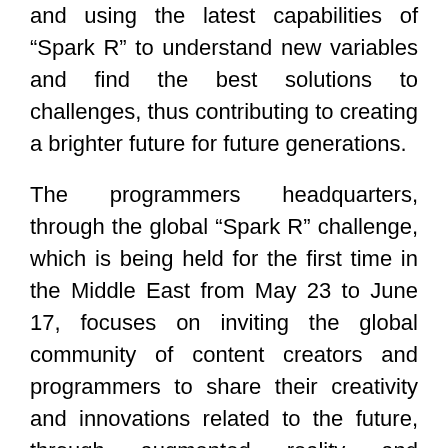and using the latest capabilities of “Spark R” to understand new variables and find the best solutions to challenges, thus contributing to creating a brighter future for future generations.
The programmers headquarters, through the global “Spark R” challenge, which is being held for the first time in the Middle East from May 23 to June 17, focuses on inviting the global community of content creators and programmers to share their creativity and innovations related to the future, through augmented reality and competition to reach the best Future images and patterns in various vital fields and sectors by taking advantage of